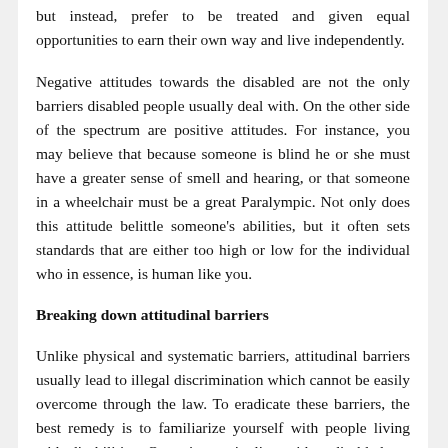but instead, prefer to be treated and given equal opportunities to earn their own way and live independently.
Negative attitudes towards the disabled are not the only barriers disabled people usually deal with. On the other side of the spectrum are positive attitudes. For instance, you may believe that because someone is blind he or she must have a greater sense of smell and hearing, or that someone in a wheelchair must be a great Paralympic. Not only does this attitude belittle someone's abilities, but it often sets standards that are either too high or low for the individual who in essence, is human like you.
Breaking down attitudinal barriers
Unlike physical and systematic barriers, attitudinal barriers usually lead to illegal discrimination which cannot be easily overcome through the law. To eradicate these barriers, the best remedy is to familiarize yourself with people living with disabilities. Over time, mingling with a disabled co-worker, say at the end-year function or during